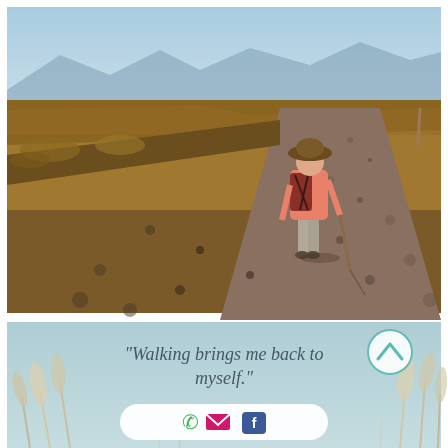[Figure (photo): A hiker wearing a pink jacket, wide-brimmed hat, and carrying a backpack and walking stick walks away from the camera along a dirt gravel road through dry scrubland with mountains in the background under a blue sky.]
[Figure (photo): A soft-focus image of tall grass/feather grass against a light blue-grey background with a cursive quote overlay reading 'Walking brings me back to myself.' and a teal circular back-to-top arrow button in the top right, and a rounded white pill-shaped bar at the bottom containing a green phone icon, a pink/magenta email envelope icon, and a blue Facebook icon.]